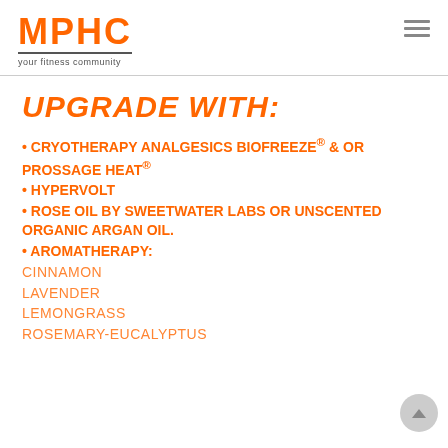MPHC your fitness community
UPGRADE WITH:
• CRYOTHERAPY ANALGESICS BIOFREEZE® & or PROSSAGE HEAT®
• HYPERVOLT
• ROSE OIL BY SWEETWATER LABS or UNSCENTED ORGANIC ARGAN OIL.
• AROMATHERAPY:
CINNAMON
LAVENDER
LEMONGRASS
ROSEMARY-EUCALYPTUS